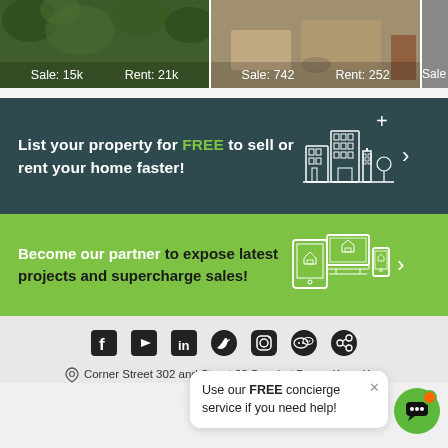[Figure (screenshot): Top strip with two property listing cards showing Sale and Rent counts. Card 1: Sale: 15k, Rent: 21k. Card 2: Sale: 742, Rent: 252. Third card partially visible.]
List your property for FREE to sell or rent your home faster!
Become our partner to expose latest projects and supercharge sales!
[Figure (infographic): Social media icons row: Facebook, YouTube, LinkedIn, Twitter, Instagram, WeChat, and another social icon.]
Corner Street 302 and Street 63 Sangkat Boeng Keng Kan
Use our FREE concierge service if you need help!